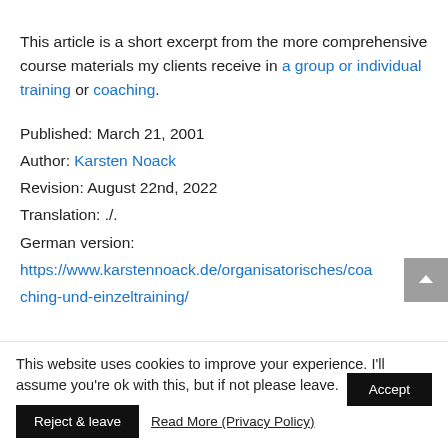This article is a short excerpt from the more comprehensive course materials my clients receive in a group or individual training or coaching.
Published: March 21, 2001
Author: Karsten Noack
Revision: August 22nd, 2022
Translation: ./.
German version:
https://www.karstennoack.de/organisatorisches/coaching-und-einzeltraining/
This website uses cookies to improve your experience. I'll assume you're ok with this, but if not please leave.